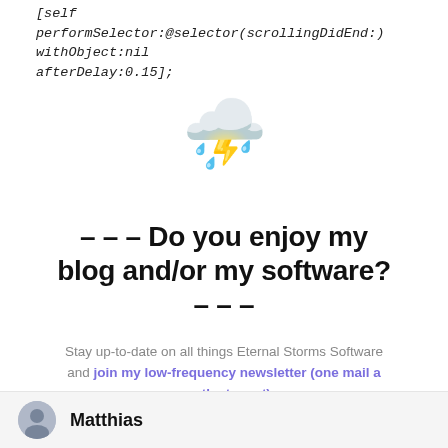[self performSelector:@selector(scrollingDidEnd:) withObject:nil afterDelay:0.15];
[Figure (illustration): Purple cloud with lightning bolt emoji, centered on the page]
– – – Do you enjoy my blog and/or my software? – – –
Stay up-to-date on all things Eternal Storms Software and join my low-frequency newsletter (one mail a month at most). Thank you 🙂
code, coding, development, memory, nsurl, optimization, performance, software, yoink
Matthias